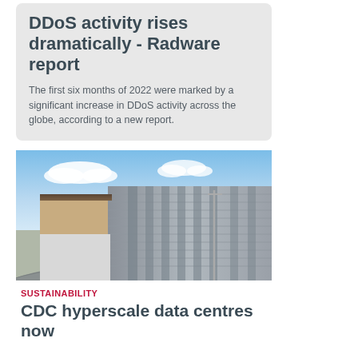DDoS activity rises dramatically - Radware report
The first six months of 2022 were marked by a significant increase in DDoS activity across the globe, according to a new report.
[Figure (photo): Exterior photograph of a large modern data centre building with corrugated metal facade, tall vertical fins, blue sky with clouds, and a curved road in the foreground.]
SUSTAINABILITY
CDC hyperscale data centres now